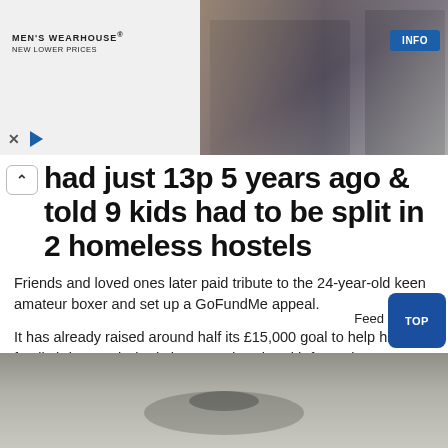[Figure (screenshot): Men's Wearhouse advertisement banner with photo of a couple in formalwear and a man in a suit, with INFO button]
had just 13p 5 years ago & told 9 kids had to be split in 2 homeless hostels
Friends and loved ones later paid tribute to the 24-year-old keen amateur boxer and set up a GoFundMe appeal.
It has already raised around half its £15,000 goal to help his family bring Paul's body home and assist with funeral costs.
Source: Read Full Article
[Figure (photo): Partial photo at the bottom of the page showing a close-up of indistinct objects]